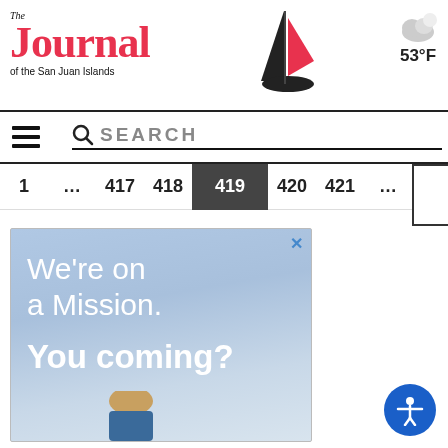The Journal of the San Juan Islands — 53°F
SEARCH
1 … 417 418 419 420 421 …
[Figure (illustration): Advertisement with light blue sky background. Text reads 'We're on a Mission. You coming?' with a partially visible person at the bottom.]
[Figure (illustration): Circular accessibility icon button (blue circle with white person figure with outstretched arms)]